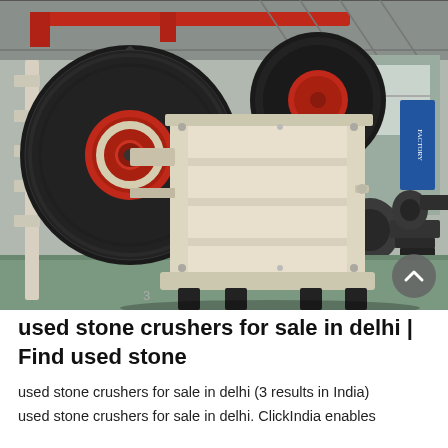[Figure (photo): Industrial jaw crusher machine photographed in a factory/warehouse setting. The crusher is large, painted cream/white with black and red flywheel pulleys. The factory interior shows metal beams, a red overhead crane, and other industrial equipment in the background.]
used stone crushers for sale in delhi | Find used stone
used stone crushers for sale in delhi (3 results in India) used stone crushers for sale in delhi. ClickIndia enables you to buy sell buy stone crushers. The seller...